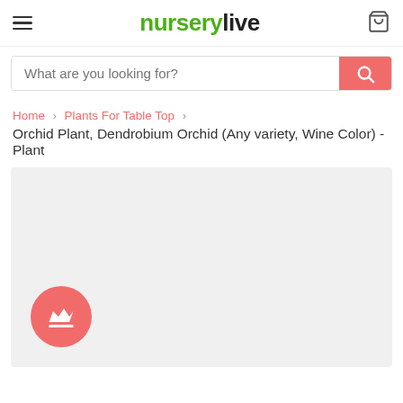nurserylive
What are you looking for?
Home > Plants For Table Top > Orchid Plant, Dendrobium Orchid (Any variety, Wine Color) - Plant
Orchid Plant, Dendrobium Orchid (Any variety, Wine Color) - Plant
[Figure (photo): Product image area with light gray background and a coral/salmon colored crown badge icon in the lower-left corner]